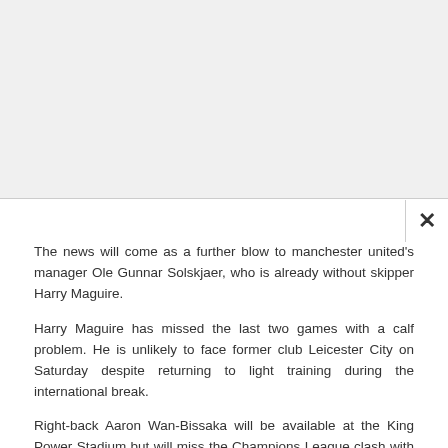The news will come as a further blow to manchester united's manager Ole Gunnar Solskjaer, who is already without skipper Harry Maguire.
Harry Maguire has missed the last two games with a calf problem. He is unlikely to face former club Leicester City on Saturday despite returning to light training during the international break.
Right-back Aaron Wan-Bissaka will be available at the King Power Stadium but will miss the Champions League clash with Atalanta four days later through suspension.
Read More: SOP guidelines for Cinema Halls and Theatres by Maharashtra Government
Solskjaer is hopeful that Marcus Rashford will feature against